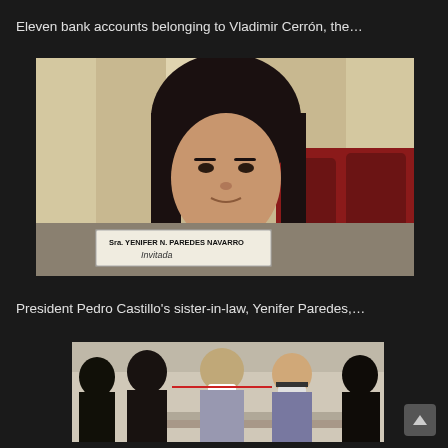Eleven bank accounts belonging to Vladimir Cerrón, the…
[Figure (photo): Woman identified as Sra. Yenifer N. Paredes Navarro sitting at a table with a nameplate reading 'Invitada' in what appears to be an official chamber or hearing room with red seats in the background]
President Pedro Castillo's sister-in-law, Yenifer Paredes,…
[Figure (photo): Group of people outdoors near a building, some wearing face masks, appearing to be in a public or official setting]